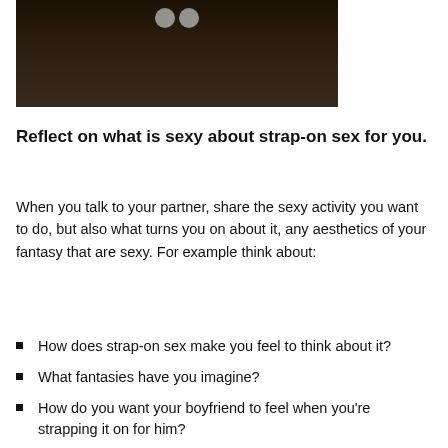[Figure (photo): Partially visible photo of a person wearing a necklace and light-colored top, dark/dimmed image with a play button overlay at top center]
Reflect on what is sexy about strap-on sex for you.
When you talk to your partner, share the sexy activity you want to do, but also what turns you on about it, any aesthetics of your fantasy that are sexy. For example think about:
How does strap-on sex make you feel to think about it?
What fantasies have you imagine?
How do you want your boyfriend to feel when you're strapping it on for him?